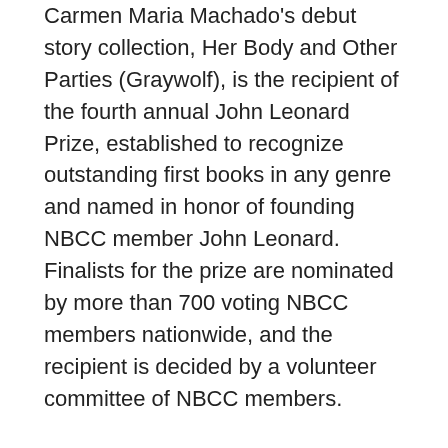Carmen Maria Machado's debut story collection, Her Body and Other Parties (Graywolf), is the recipient of the fourth annual John Leonard Prize, established to recognize outstanding first books in any genre and named in honor of founding NBCC member John Leonard. Finalists for the prize are nominated by more than 700 voting NBCC members nationwide, and the recipient is decided by a volunteer committee of NBCC members.
The recipient of the 2017 Nona Balakian Citation for Excellence in Reviewing is Charles Finch. Charles Finch is the author of the Charles Lenox mysteries, including The Inheritance and A Beautiful Blue